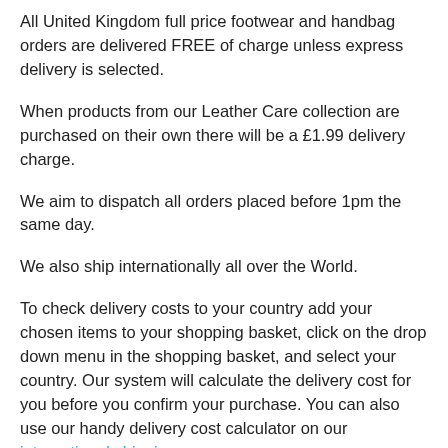All United Kingdom full price footwear and handbag orders are delivered FREE of charge unless express delivery is selected.
When products from our Leather Care collection are purchased on their own there will be a £1.99 delivery charge.
We aim to dispatch all orders placed before 1pm the same day.
We also ship internationally all over the World.
To check delivery costs to your country add your chosen items to your shopping basket, click on the drop down menu in the shopping basket, and select your country. Our system will calculate the delivery cost for you before you confirm your purchase. You can also use our handy delivery cost calculator on our international shipping page.